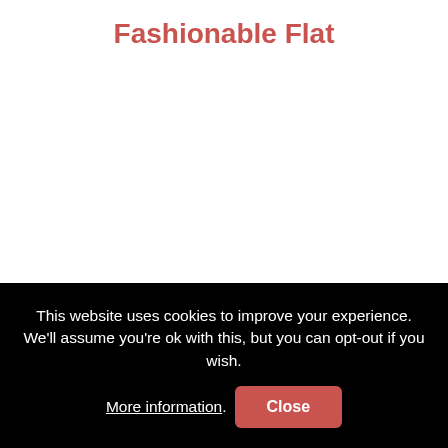Fashionable Flat
This website uses cookies to improve your experience. We'll assume you're ok with this, but you can opt-out if you wish. More information. Close